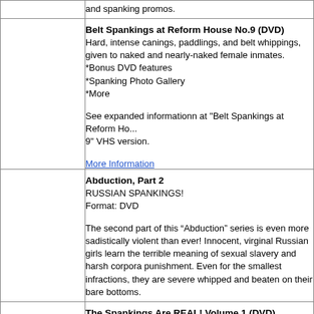|  | and spanking promos. |
|  | Belt Spankings at Reform House No.9 (DVD)
Hard, intense canings, paddlings, and belt whippings, given to naked and nearly-naked female inmates.
*Bonus DVD features
*Spanking Photo Gallery
*More

See expanded informationn at "Belt Spankings at Reform House 9" VHS version.

More Information |
|  | Abduction, Part 2
RUSSIAN SPANKINGS!
Format: DVD

The second part of this “Abduction” series is even more sadistically violent than ever! Innocent, virginal Russian girls learn the terrible meaning of sexual slavery and harsh corporal punishment. Even for the smallest infractions, they are severely whipped and beaten on their bare bottoms. |
|  | The Spankings Are REAL! Volume 1 (DVD)
Sample 5 Raven Hill Spanking Movies! Hosted by Richard L.
See Highlights from:
*A Spanking Works Better
*Caught and Spanked! |